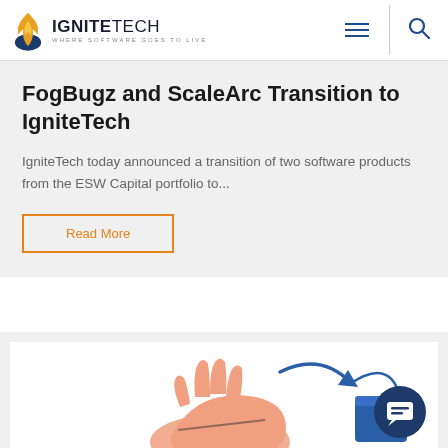IGNITETECH — WHERE SOFTWARE GOES TO LIVE
FogBugz and ScaleArc Transition to IgniteTech
IgniteTech today announced a transition of two software products from the ESW Capital portfolio to...
Read More
[Figure (illustration): Illustration of a hand with an arrow and geometric shapes, partially visible at the bottom of the page. A chat/messaging bubble icon appears in the bottom-right corner.]